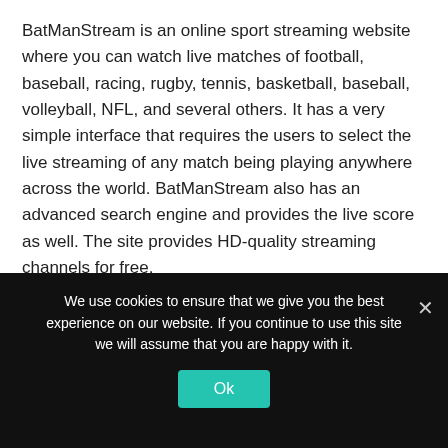BatManStream is an online sport streaming website where you can watch live matches of football, baseball, racing, rugby, tennis, basketball, baseball, volleyball, NFL, and several others. It has a very simple interface that requires the users to select the live streaming of any match being playing anywhere across the world. BatManStream also has an advanced search engine and provides the live score as well. The site provides HD-quality streaming channels for free.
12. Sportlemon
We use cookies to ensure that we give you the best experience on our website. If you continue to use this site we will assume that you are happy with it.